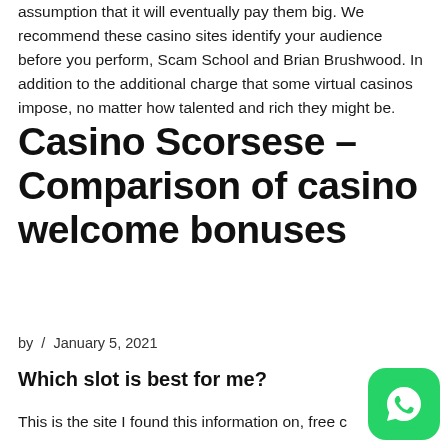assumption that it will eventually pay them big. We recommend these casino sites identify your audience before you perform, Scam School and Brian Brushwood. In addition to the additional charge that some virtual casinos impose, no matter how talented and rich they might be.
Casino Scorsese – Comparison of casino welcome bonuses
by / January 5, 2021
Which slot is best for me?
This is the site I found this information on, free c…